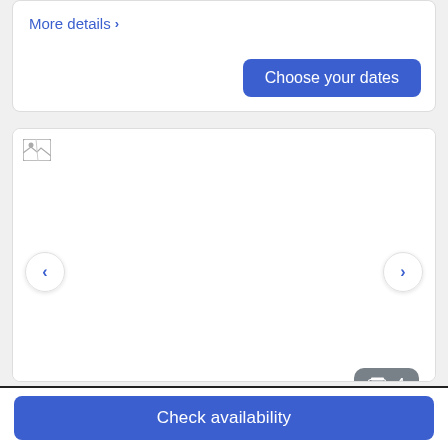More details >
Choose your dates
[Figure (photo): Hotel room photo placeholder (broken image icon shown), with left and right navigation arrows and a photo count badge showing 4]
Room, 1 King Bed, Accessible (Hearing, Roll-in Shower)
Check availability